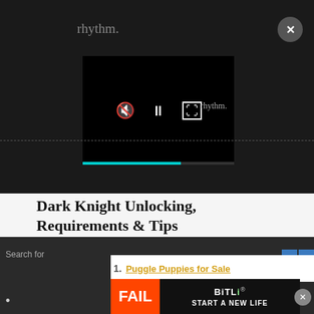rhythm.
[Figure (screenshot): Video player with playback controls: mute icon with x, pause button (two vertical bars), and expand/fullscreen icon. A cyan progress bar is shown at the bottom of the player. A 'rhythm.' watermark appears in the lower right.]
Dark Knight Unlocking, Requirements & Tips
Here's a quick summary on unlocking Dark Knight.
Quest: Our End
Location: The Pillars (p.8)
[Figure (screenshot): Ad panel showing '1. Puggle Puppies for Sale' as a yellow underlined link, with navigation arrows (blue forward/back buttons) on the right.]
[Figure (screenshot): BitLife 'START A NEW LIFE' banner advertisement with red fiery background, cartoon character, and logo. An X close button is shown to the right.]
Search for